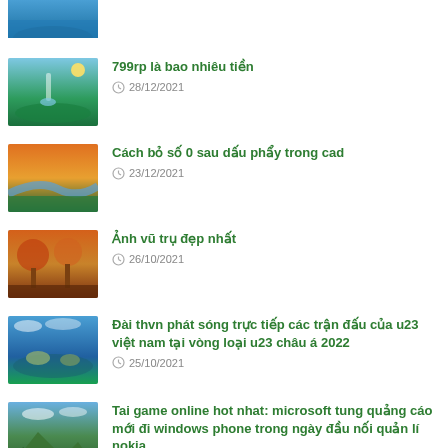[Figure (photo): Partial thumbnail of a scenic lake/ocean image at top]
799rp là bao nhiêu tiền
28/12/2021
Cách bỏ số 0 sau dấu phẩy trong cad
23/12/2021
Ảnh vũ trụ đẹp nhất
26/10/2021
Đài thvn phát sóng trực tiếp các trận đấu của u23 việt nam tại vòng loại u23 châu á 2022
25/10/2021
Tai game online hot nhat: microsoft tung quảng cáo mới đi windows phone trong ngày đầu nối quản lí nokia
06/12/2021